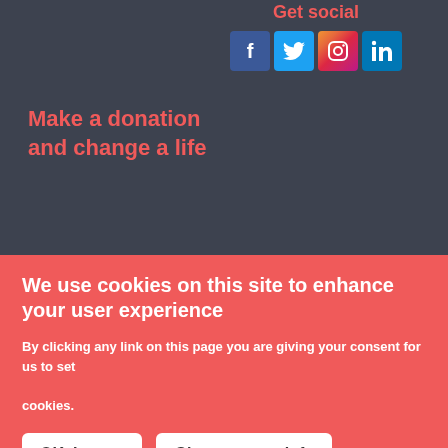Get social
[Figure (illustration): Social media icons for Facebook, Twitter, Instagram, and LinkedIn]
Make a donation and change a life
We use cookies on this site to enhance your user experience
By clicking any link on this page you are giving your consent for us to set cookies.
OK, I agree
Give me more info